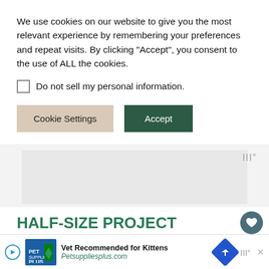We use cookies on our website to give you the most relevant experience by remembering your preferences and repeat visits. By clicking “Accept”, you consent to the use of ALL the cookies.
Do not sell my personal information.
Cookie Settings
Accept
[Figure (screenshot): Ad placeholder area with Wunderkind logo in grey]
HALF-SIZE PROJECT PLANNER PRINTABLES
This post wouldn’t be complete without including the half-
[Figure (screenshot): Bottom advertisement banner: Pet Supplies Plus - Vet Recommended for Kittens - Petsuppliesplus.com]